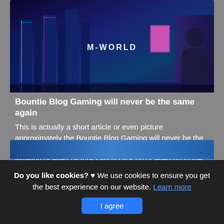[Figure (illustration): Cyberpunk city scene with a figure sitting against a neon-lit futuristic skyline, labeled 'M-WORLD']
Bountie Blog Gaming will never be the same again
This is actually a short article or even picture approximately the Bountie Blog Gaming will never be the same again, if you prefer much a lot extra info around the write-up or even picture satisfy click on or even go to the observing web link or even web link . (Read More)
Source: www.bountie.io
[Figure (illustration): Partial view of a second article's hero image, blue-toned]
Do you like cookies? ♥ We use cookies to ensure you get the best experience on our website. Learn more
I agree